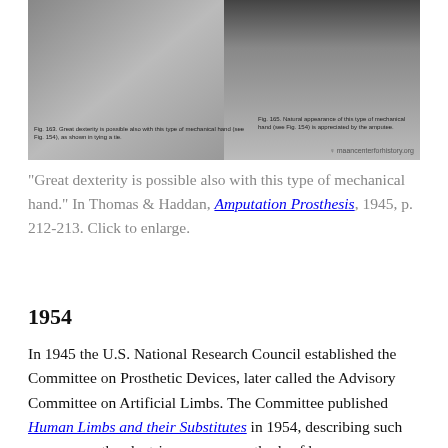[Figure (photo): Black and white photograph from a book showing mechanical prosthetic hand demonstrations, with two images side by side. Left image shows a person tying a tie, right image shows natural appearance of the mechanical hand. Captions below each image describe the figures. Watermark reads 'maancenterforhistory.org'.]
"Great dexterity is possible also with this type of mechanical hand." In Thomas & Haddan, Amputation Prosthesis, 1945, p. 212-213. Click to enlarge.
1954
In 1945 the U.S. National Research Council established the Committee on Prosthetic Devices, later called the Advisory Committee on Artificial Limbs. The Committee published Human Limbs and their Substitutes in 1954, describing such progress as the electric arm, new methods of knee stabilization, and advances in suction sockets.